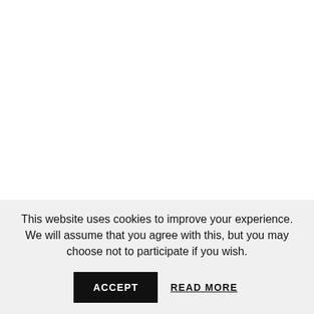This website uses cookies to improve your experience. We will assume that you agree with this, but you may choose not to participate if you wish.
ACCEPT
READ MORE